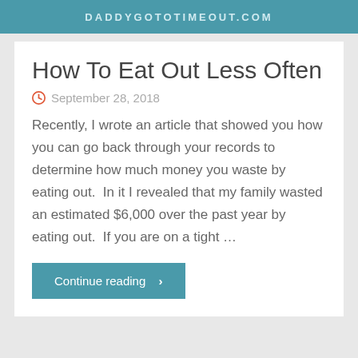DADDYGOTOTIMEOUT.COM
How To Eat Out Less Often
September 28, 2018
Recently, I wrote an article that showed you how you can go back through your records to determine how much money you waste by eating out.  In it I revealed that my family wasted an estimated $6,000 over the past year by eating out.  If you are on a tight ...
Continue reading  >